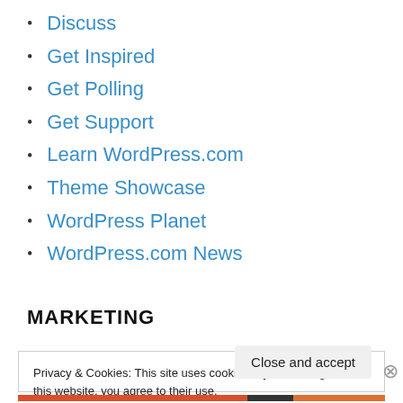Discuss
Get Inspired
Get Polling
Get Support
Learn WordPress.com
Theme Showcase
WordPress Planet
WordPress.com News
MARKETING
Privacy & Cookies: This site uses cookies. By continuing to use this website, you agree to their use.
To find out more, including how to control cookies, see here: Cookie Policy